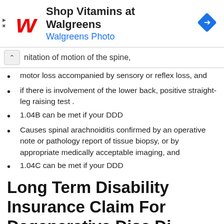[Figure (other): Walgreens advertisement banner with logo, 'Shop Vitamins at Walgreens' text and a navigation icon]
nitation of motion of the spine,
motor loss accompanied by sensory or reflex loss, and
if there is involvement of the lower back, positive straight-leg raising test .
1.04B can be met if your DDD
Causes spinal arachnoiditis confirmed by an operative note or pathology report of tissue biopsy, or by appropriate medically acceptable imaging, and
1.04C can be met if your DDD
Long Term Disability Insurance Claim For Degenerative Disc Di...